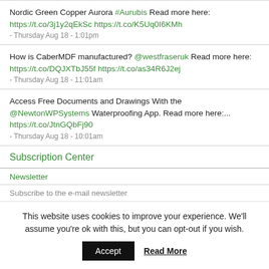Nordic Green Copper Aurora #Aurubis Read more here: https://t.co/3j1y2qEkSc https://t.co/K5Uq0I6KMh
- Thursday Aug 18 - 1:01pm
How is CaberMDF manufactured? @westfraseruk Read more here: https://t.co/DQJXTbJ55f https://t.co/as34R6J2ej
- Thursday Aug 18 - 11:01am
Access Free Documents and Drawings With the @NewtonWPSystems Waterproofing App. Read more here:... https://t.co/JtnGQbFj90
- Thursday Aug 18 - 10:01am
Subscription Center
Newsletter
Subscribe to the e-mail newsletter
Digital Magazine
This website uses cookies to improve your experience. We'll assume you're ok with this, but you can opt-out if you wish.
Accept   Read More